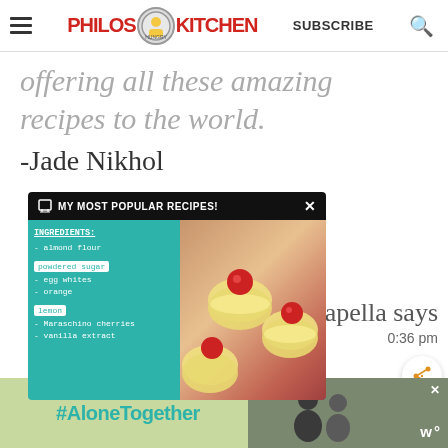PHILOS KITCHEN | SUBSCRIBE
offering all these amazing recipes to the world.
-Jade Nikhol
[Figure (screenshot): Popup box titled MY MOST POPULAR RECIPES! with teal background showing ingredients list (almond flour, powdered sugar, egg whites, orange, lemon, Maraschino cherries, vanilla extract) and photo of macarons with cherry toppings]
apella says
0:36 pm
[Figure (infographic): Advertisement bar at bottom with #AloneTogether text on green background and image of people on dark background with W° logo]